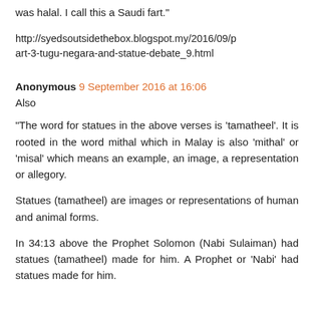was halal. I call this a Saudi fart."
http://syedsoutsidethebox.blogspot.my/2016/09/part-3-tugu-negara-and-statue-debate_9.html
Anonymous 9 September 2016 at 16:06
Also
"The word for statues in the above verses is 'tamatheel'. It is rooted in the word mithal which in Malay is also 'mithal' or 'misal' which means an example, an image, a representation or allegory.
Statues (tamatheel) are images or representations of human and animal forms.
In 34:13 above the Prophet Solomon (Nabi Sulaiman) had statues (tamatheel) made for him. A Prophet or 'Nabi' had statues made for him.